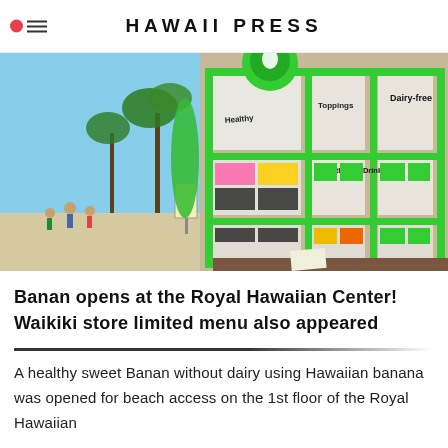HAWAII PRESS
[Figure (photo): Exterior of Banan store at Royal Hawaiian Center, Waikiki. Green-framed windows display menu boards including 'Dairy-free', 'Healthy', 'Toppings', 'Smoothies & Drinks'. A large green inflatable balloon and a green circular logo sign are visible. Palm trees and beach in background, people walking on sidewalk.]
Banan opens at the Royal Hawaiian Center! Waikiki store limited menu also appeared
A healthy sweet Banan without dairy using Hawaiian banana was opened for beach access on the 1st floor of the Royal Hawaiian